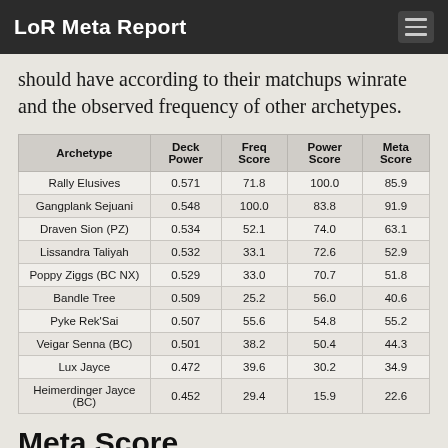LoR Meta Report
should have according to their matchups winrate and the observed frequency of other archetypes.
| Archetype | Deck Power | Freq Score | Power Score | Meta Score |
| --- | --- | --- | --- | --- |
| Rally Elusives | 0.571 | 71.8 | 100.0 | 85.9 |
| Gangplank Sejuani | 0.548 | 100.0 | 83.8 | 91.9 |
| Draven Sion (PZ) | 0.534 | 52.1 | 74.0 | 63.1 |
| Lissandra Taliyah | 0.532 | 33.1 | 72.6 | 52.9 |
| Poppy Ziggs (BC NX) | 0.529 | 33.0 | 70.7 | 51.8 |
| Bandle Tree | 0.509 | 25.2 | 56.0 | 40.6 |
| Pyke Rek'Sai | 0.507 | 55.6 | 54.8 | 55.2 |
| Veigar Senna (BC) | 0.501 | 38.2 | 50.4 | 44.3 |
| Lux Jayce | 0.472 | 39.6 | 30.2 | 34.9 |
| Heimerdinger Jayce (BC) | 0.452 | 29.4 | 15.9 | 22.6 |
Meta Score